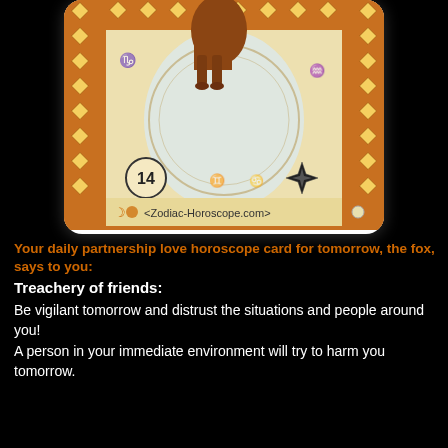[Figure (illustration): A tarot-style zodiac card showing a fox animal, with ornate diamond-pattern border in orange/brown and gold, zodiac symbols, a compass star, the number 14 in a circle, and the watermark 'Zodiac-Horoscope.com' at the bottom. The card has a cream/beige background with astrological decorations.]
Your daily partnership love horoscope card for tomorrow, the fox, says to you:
Treachery of friends:
Be vigilant tomorrow and distrust the situations and people around you!
A person in your immediate environment will try to harm you tomorrow.